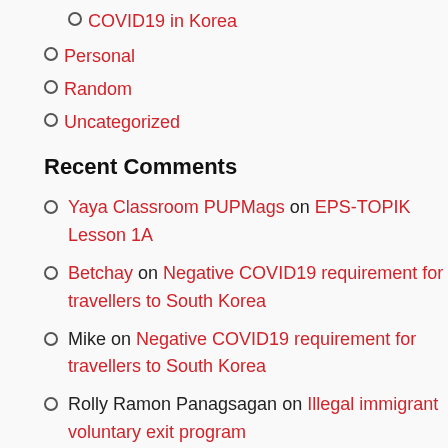COVID19 in Korea
Personal
Random
Uncategorized
Recent Comments
Yaya Classroom PUPMags on EPS-TOPIK Lesson 1A
Betchay on Negative COVID19 requirement for travellers to South Korea
Mike on Negative COVID19 requirement for travellers to South Korea
Rolly Ramon Panagsagan on Illegal immigrant voluntary exit program
Patrick Leebert Amit on Negative COVID19 requirement for travellers to South Korea